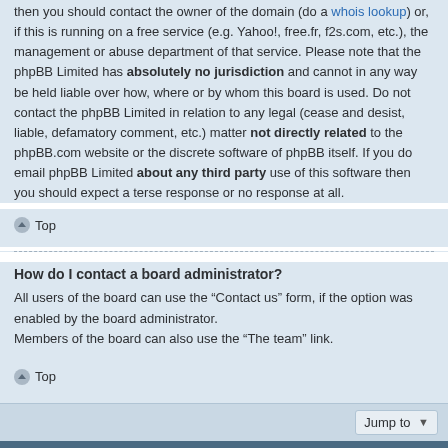then you should contact the owner of the domain (do a whois lookup) or, if this is running on a free service (e.g. Yahoo!, free.fr, f2s.com, etc.), the management or abuse department of that service. Please note that the phpBB Limited has absolutely no jurisdiction and cannot in any way be held liable over how, where or by whom this board is used. Do not contact the phpBB Limited in relation to any legal (cease and desist, liable, defamatory comment, etc.) matter not directly related to the phpBB.com website or the discrete software of phpBB itself. If you do email phpBB Limited about any third party use of this software then you should expect a terse response or no response at all.
Top
How do I contact a board administrator?
All users of the board can use the “Contact us” form, if the option was enabled by the board administrator.
Members of the board can also use the “The team” link.
Top
Jump to
Board index  Contact us  Delete cookies  All times are UTC-03:00
Powered by phpBB® Forum Software © phpBB Limited  Privacy | Terms